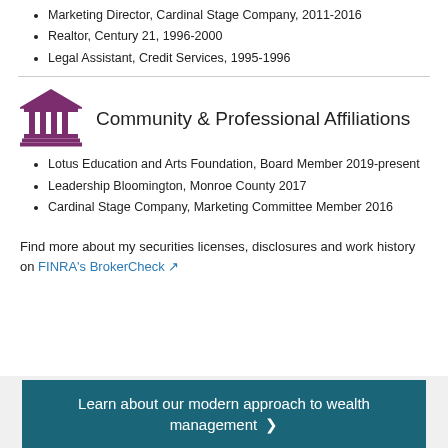Marketing Director, Cardinal Stage Company, 2011-2016
Realtor, Century 21, 1996-2000
Legal Assistant, Credit Services, 1995-1996
Community & Professional Affiliations
Lotus Education and Arts Foundation, Board Member 2019-present
Leadership Bloomington, Monroe County 2017
Cardinal Stage Company, Marketing Committee Member 2016
Find more about my securities licenses, disclosures and work history on FINRA's BrokerCheck
Learn about our modern approach to wealth management